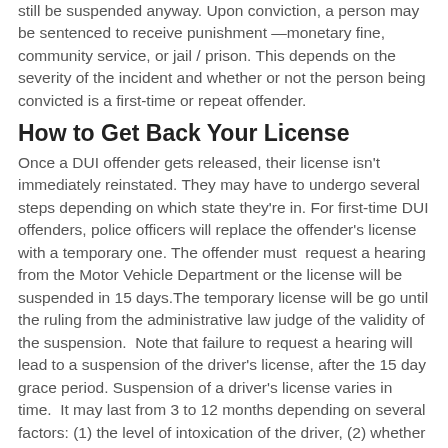still be suspended anyway. Upon conviction, a person may be sentenced to receive punishment —monetary fine, community service, or jail / prison. This depends on the severity of the incident and whether or not the person being convicted is a first-time or repeat offender.
How to Get Back Your License
Once a DUI offender gets released, their license isn't immediately reinstated. They may have to undergo several steps depending on which state they're in. For first-time DUI offenders, police officers will replace the offender's license with a temporary one. The offender must  request a hearing from the Motor Vehicle Department or the license will be suspended in 15 days.The temporary license will be go until the ruling from the administrative law judge of the validity of the suspension.  Note that failure to request a hearing will lead to a suspension of the driver's license, after the 15 day grace period. Suspension of a driver's license varies in time.  It may last from 3 to 12 months depending on several factors: (1) the level of intoxication of the driver, (2) whether or not the driver has had previous DUIs, and (3) whether there was a refusal to take the blood test. There may be multiple steps to follow for people to get their license back.